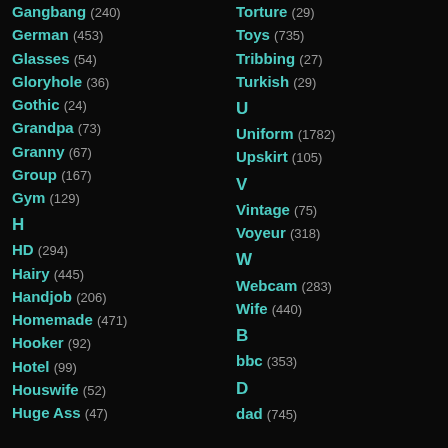Gangbang (240)
German (453)
Glasses (54)
Gloryhole (36)
Gothic (24)
Grandpa (73)
Granny (67)
Group (167)
Gym (129)
H
HD (294)
Hairy (445)
Handjob (206)
Homemade (471)
Hooker (92)
Hotel (99)
Houswife (52)
Huge Ass (47)
Torture (29)
Toys (735)
Tribbing (27)
Turkish (29)
U
Uniform (1782)
Upskirt (105)
V
Vintage (75)
Voyeur (318)
W
Webcam (283)
Wife (440)
B
bbc (353)
D
dad (745)